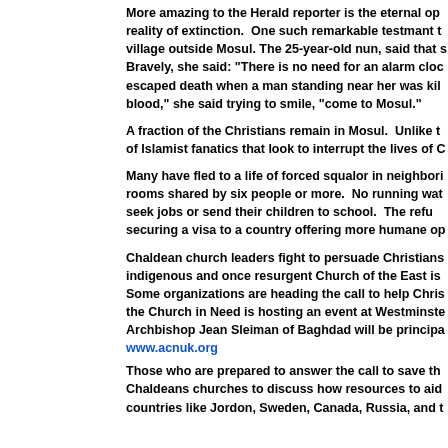More amazing to the Herald reporter is the eternal op reality of extinction.  One such remarkable testmant t village outside Mosul. The 25-year-old nun, said that s Bravely, she said: "There is no need for an alarm cloc escaped death when a man standing near her was kil blood," she said trying to smile, "come to Mosul."
A fraction of the Christians remain in Mosul.  Unlike t of Islamist fanatics that look to interrupt the lives of C
Many have fled to a life of forced squalor in neighbori rooms shared by six people or more.  No running wat seek jobs or send their children to school.  The refu securing a visa to a country offering more humane op
Chaldean church leaders fight to persuade Christians indigenous and once resurgent Church of the East is Some organizations are heading the call to help Chris the Church in Need is hosting an event at Westminste Archbishop Jean Sleiman of Baghdad will be principa www.acnuk.org
Those who are prepared to answer the call to save th Chaldeans churches to discuss how resources to aid countries like Jordon, Sweden, Canada, Russia, and t